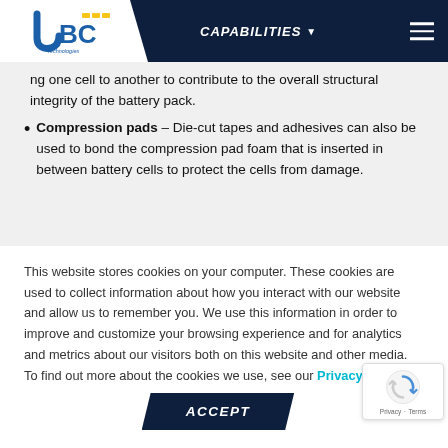JBC Technologies — CAPABILITIES
ng one cell to another to contribute to the overall structural integrity of the battery pack.
Compression pads — Die-cut tapes and adhesives can also be used to bond the compression pad foam that is inserted in between battery cells to protect the cells from damage.
This website stores cookies on your computer. These cookies are used to collect information about how you interact with our website and allow us to remember you. We use this information in order to improve and customize your browsing experience and for analytics and metrics about our visitors both on this website and other media. To find out more about the cookies we use, see our Privacy Policy.
ACCEPT